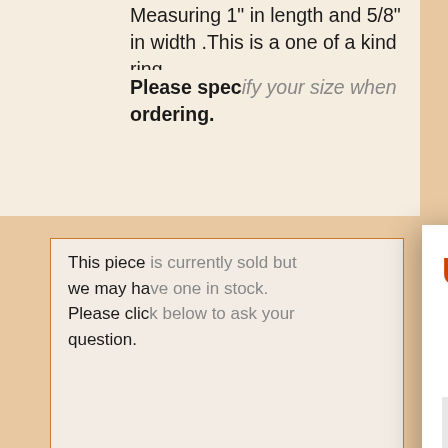Measuring 1" in length and 5/8" in width. This is a one of a kind ring.
Please specify your size when ordering.
This piece is currently sold but we may have one in stock. Please click below to ask your question.
ASK A Q...
[Figure (photo): Dark/black background photo area]
Unlock 10% Off
Join our mailing list to stay up to date on our latest promotions — and get 10% off your first purchase with us!
Name
Email
SUBSCRIBE